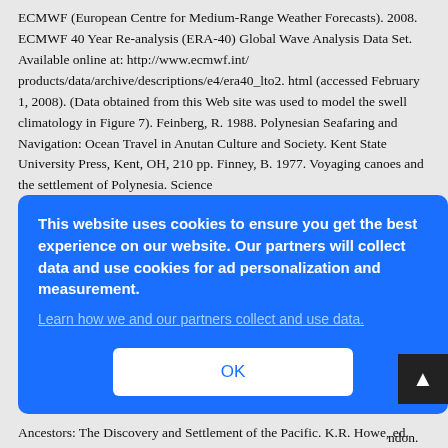ECMWF (European Centre for Medium-Range Weather Forecasts). 2008. ECMWF 40 Year Re-analysis (ERA-40) Global Wave Analysis Data Set. Available online at: http://www.ecmwf.int/products/data/archive/descriptions/e4/era40_lto2. html (accessed February 1, 2008). (Data obtained from this Web site was used to model the swell climatology in Figure 7). Feinberg, R. 1988. Polynesian Seafaring and Navigation: Ocean Travel in Anutan Culture and Society. Kent State University Press, Kent, OH, 210 pp. Finney, B. 1977. Voyaging canoes and the settlement of Polynesia. Science
...hiti. ...ge of ...ey, B. ...p. ...n the ...es. D. ...ndon. ...ney Ancestors: The Discovery and Settlement of the Pacific. K.R. Howe, ed.
[Figure (screenshot): Cookie consent overlay with blue background. Text: 'This website uses cookies to ensure you get the best experience on our website. Our partners will collect data and use cookies for ad personalization and measurement.' Link: 'Learn how we and our partners collect and use data.' Button: 'OK']